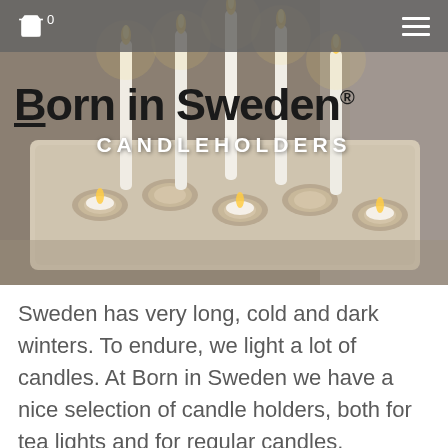Born in Sweden® — navigation bar with cart (0) and hamburger menu
[Figure (photo): Photo of a rectangular wooden candleholder tray holding multiple lit white taper candles and tea light candles with warm glowing flames, set on a woven surface]
Born in Sweden® CANDLEHOLDERS
Sweden has very long, cold and dark winters. To endure, we light a lot of candles. At Born in Sweden we have a nice selection of candle holders, both for tea lights and for regular candles.